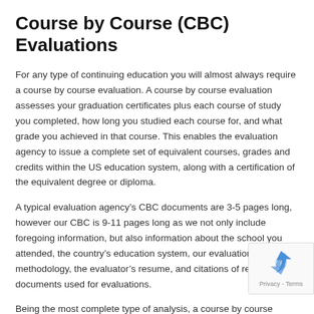Course by Course (CBC) Evaluations
For any type of continuing education you will almost always require a course by course evaluation. A course by course evaluation assesses your graduation certificates plus each course of study you completed, how long you studied each course for, and what grade you achieved in that course. This enables the evaluation agency to issue a complete set of equivalent courses, grades and credits within the US education system, along with a certification of the equivalent degree or diploma.
A typical evaluation agency’s CBC documents are 3-5 pages long, however our CBC is 9-11 pages long as we not only include foregoing information, but also information about the school you attended, the country’s education system, our evaluation methodology, the evaluator’s resume, and citations of reference documents used for evaluations.
Being the most complete type of analysis, a course by course evaluation can be used for both continuing education and work purposes. For immigration purposes, however, we recommend a specialized course by course for immigration. This will contain all